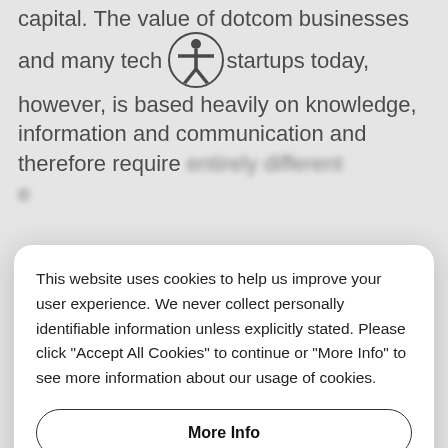capital. The value of dotcom businesses and many tech startups today, however, is based heavily on knowledge, information and communication and therefore require entirely different e...
This website uses cookies to help us improve your user experience. We never collect personally identifiable information unless explicitly stated. Please click "Accept All Cookies" to continue or "More Info" to see more information about our usage of cookies.
More Info
Accept All Cookies